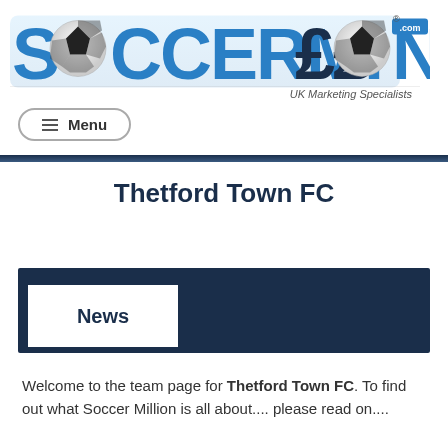[Figure (logo): Soccermillion.com logo with soccer balls and blue stylized text, UK Marketing Specialists subtitle]
≡ Menu
Thetford Town FC
News
Welcome to the team page for Thetford Town FC. To find out what Soccer Million is all about.... please read on....